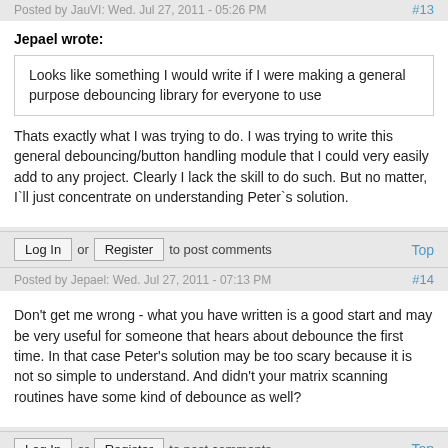Posted by JauVI: Wed. Jul 27, 2011 - 05:26 PM  #13
Jepael wrote:
Looks like something I would write if I were making a general purpose debouncing library for everyone to use
Thats exactly what I was trying to do. I was trying to write this general debouncing/button handling module that I could very easily add to any project. Clearly I lack the skill to do such. But no matter, I`ll just concentrate on understanding Peter`s solution.
Log In or Register to post comments   Top
Posted by Jepael: Wed. Jul 27, 2011 - 07:13 PM  #14
Don't get me wrong - what you have written is a good start and may be very useful for someone that hears about debounce the first time. In that case Peter's solution may be too scary because it is not so simple to understand. And didn't your matrix scanning routines have some kind of debounce as well?
Log In or Register to post comments   Top